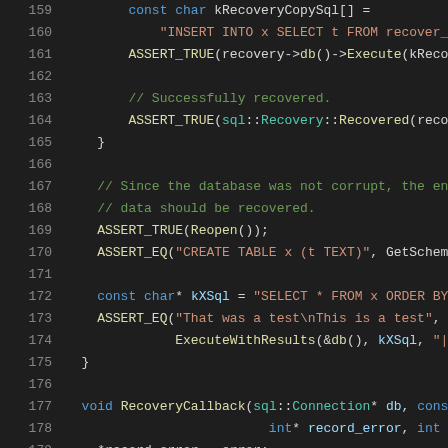[Figure (screenshot): Source code listing lines 159-180 showing C++ database recovery test code with syntax highlighting. Lines include kRecoveryCopySql string, ASSERT_TRUE calls, comments about database recovery, ASSERT_EQ calls, and RecoveryCallback function definition.]